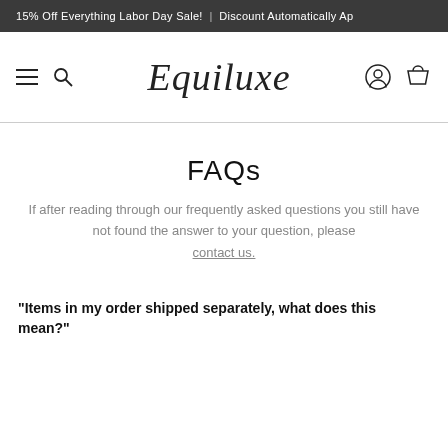15% Off Everything Labor Day Sale! | Discount Automatically Ap
[Figure (logo): Equiluxe script logo with hamburger menu, search, account and cart icons]
FAQs
If after reading through our frequently asked questions you still have not found the answer to your question, please contact us.
"Items in my order shipped separately, what does this mean?"